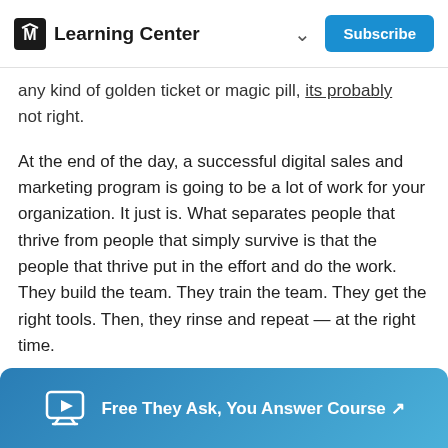Learning Center  ∨  Subscribe
any kind of golden ticket or magic pill, its probably not right.
At the end of the day, a successful digital sales and marketing program is going to be a lot of work for your organization. It just is. What separates people that thrive from people that simply survive is that the people that thrive put in the effort and do the work. They build the team. They train the team. They get the right tools. Then, they rinse and repeat — at the right time.
Does it make sense to redo your website? Yes, but
Free They Ask, You Answer Course ↗